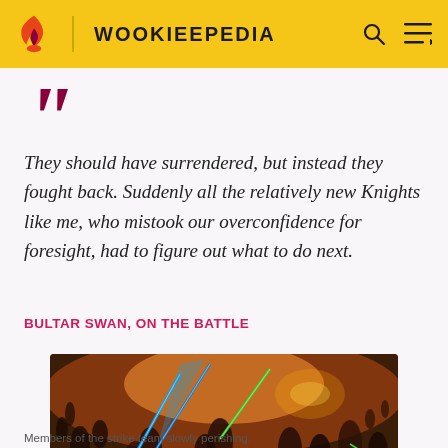WOOKIEEPEDIA
““
They should have surrendered, but instead they fought back. Suddenly all the relatively new Knights like me, who mistook our overconfidence for foresight, had to figure out what to do next.
BULTAR SWAN, ON THE BATTLE
[Figure (photo): Scene showing Jedi members of the strike team fighting battle droids, with lightsabers glowing blue and green, on a sandy arena. Some figures are on the ground. Background shows explosions and droid army.]
Members of the strike team slowly perishing.